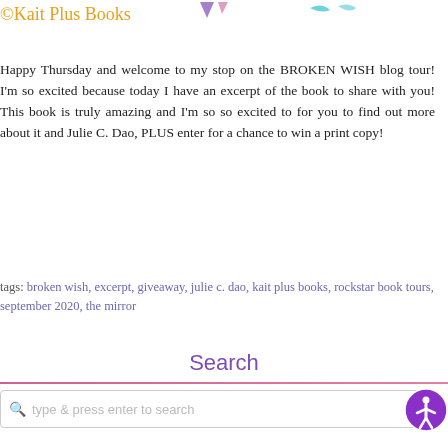©Kait Plus Books
Happy Thursday and welcome to my stop on the BROKEN WISH blog tour! I'm so excited because today I have an excerpt of the book to share with you! This book is truly amazing and I'm so so excited to for you to find out more about it and Julie C. Dao, PLUS enter for a chance to win a print copy!
Read More
tags: broken wish, excerpt, giveaway, julie c. dao, kait plus books, rockstar book tours, september 2020, the mirror
Search